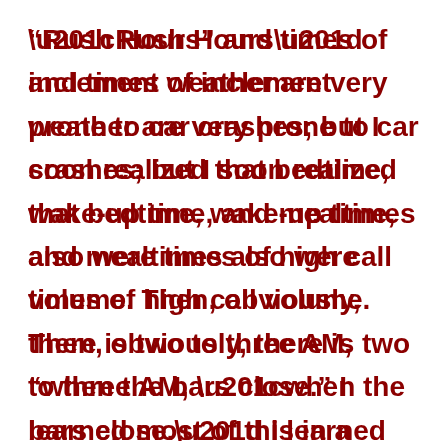“Rush Hours” and times of inclement weather are very prone to car crashes; but I soon realized that bedtime, wake-up time, and mealtimes also were times of high call volume. Then, obviously, there is two to three AM, “when the bars close.” I learned most of this in a compressed time frame, while working the busiest ambulance in Oregon, in downtown Portland, in the early 20...